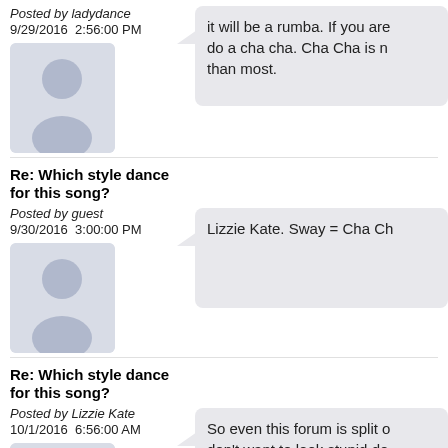Posted by ladydance
9/29/2016  2:56:00 PM
[Figure (illustration): Default user avatar silhouette placeholder image]
it will be a rumba. If you are do a cha cha. Cha Cha is n than most.
Re: Which style dance for this song?
Posted by guest
9/30/2016  3:00:00 PM
[Figure (illustration): Default user avatar silhouette placeholder image]
Lizzie Kate. Sway = Cha Ch
Re: Which style dance for this song?
Posted by Lizzie Kate
10/1/2016  6:56:00 AM
So even this forum is split o don't want to look stupid do